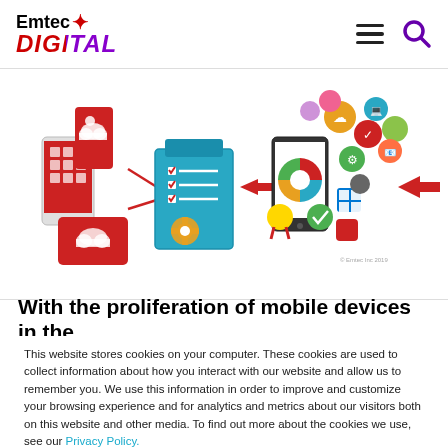[Figure (logo): Emtec Digital logo with red star and gradient DIGITAL text in red and purple]
[Figure (illustration): Infographic showing mobile device management workflow: smartphones with apps connecting via checklist and arrows to a tablet displaying charts, surrounded by colorful app icons, leading to a final mobile device]
With the proliferation of mobile devices in the
This website stores cookies on your computer. These cookies are used to collect information about how you interact with our website and allow us to remember you. We use this information in order to improve and customize your browsing experience and for analytics and metrics about our visitors both on this website and other media. To find out more about the cookies we use, see our Privacy Policy.
Accept